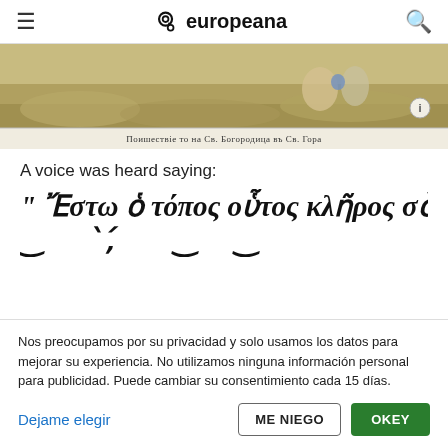europeana
[Figure (illustration): A historical artwork/engraving showing figures in a landscape, with a Cyrillic caption at the bottom reading 'Поишествіе то на Св. Богородица въ Св. Гора']
A voice was heard saying:
" Ἔστω ὁ τόπος οὗτος κλῆρος σὸς
Nos preocupamos por su privacidad y solo usamos los datos para mejorar su experiencia. No utilizamos ninguna información personal para publicidad. Puede cambiar su consentimiento cada 15 días.
Dejame elegir
ME NIEGO
OKEY